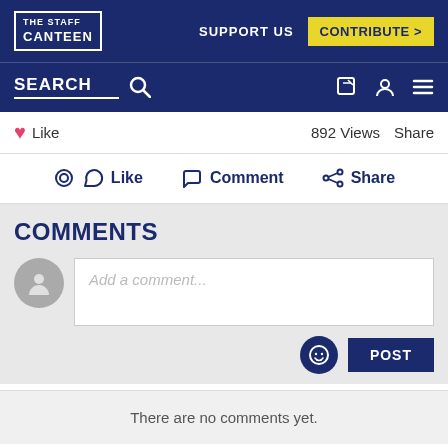THE STAFF CANTEEN
SUPPORT US    CONTRIBUTE >
SEARCH
Like    892 Views    Share
Like    Comment    Share
COMMENTS
Add a comment...
POST
There are no comments yet.